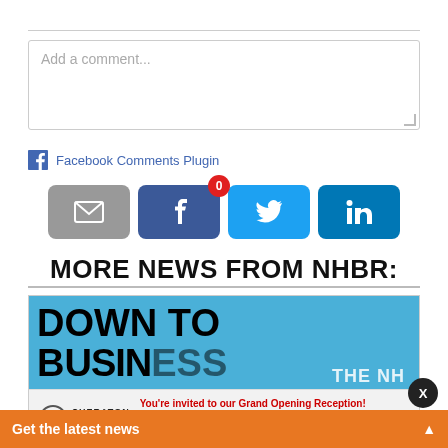Add a comment...
Facebook Comments Plugin
[Figure (infographic): Share buttons row: email (gray), Facebook (blue-purple) with badge 0, Twitter (light blue), LinkedIn (dark blue)]
MORE NEWS FROM NHBR:
[Figure (other): Article card image with 'DOWN TO BUSINESS' bold text and 'THE NH BUSINESS' overlay text on blue background. Sheraton Nashua ad overlay at bottom with grand opening reception invitation. Orange 'Get the latest news' bar and X close button.]